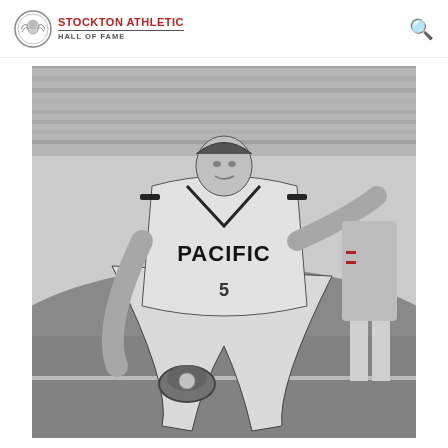Stockton Athletic Hall of Fame
[Figure (photo): Black and white action photo of a softball/baseball player wearing a 'PACIFIC' jersey with number 5, crouching low to field a ball on the ground with a glove. Another player is visible in the background on the right.]